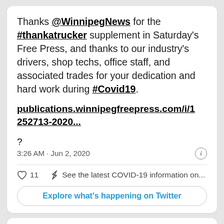Thanks @WinnipegNews for the #thankatrucker supplement in Saturday's Free Press, and thanks to our industry's drivers, shop techs, office staff, and associated trades for your dedication and hard work during #Covid19.
publications.winnipegfreepress.com/i/1252713-2020...?
3:26 AM · Jun 2, 2020
11   See the latest COVID-19 information on...
Explore what's happening on Twitter
Q-Line Trucking @QLineTrucking · Follow
Faces of the front line. With lessening access...